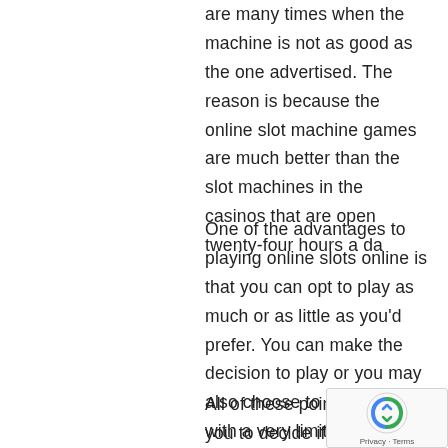are many times when the machine is not as good as the one advertised. The reason is because the online slot machine games are much better than the slot machines in the casinos that are open twenty-four hours a da
One of the advantages to playing online slots online is that you can opt to play as much or as little as you'd prefer. You can make the decision to play or you may also choose to play with with a very limited number of games every da
All of these points will allow you to decide if you should go for an online casino or not. Then make certain that